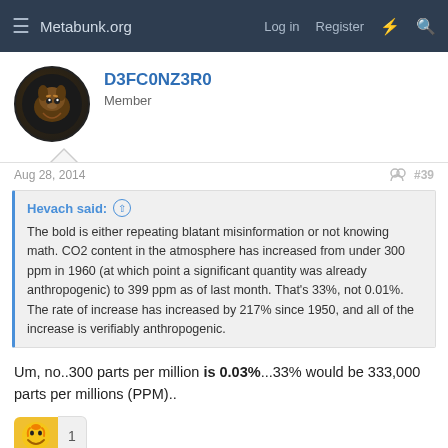Metabunk.org  Log in  Register
D3FC0NZ3R0
Member
Aug 28, 2014  #39
Hevach said: The bold is either repeating blatant misinformation or not knowing math. CO2 content in the atmosphere has increased from under 300 ppm in 1960 (at which point a significant quantity was already anthropogenic) to 399 ppm as of last month. That's 33%, not 0.01%. The rate of increase has increased by 217% since 1950, and all of the increase is verifiably anthropogenic.
Um, no..300 parts per million is 0.03%...33% would be 333,000 parts per millions (PPM)..
[Figure (other): Laughing/ROFL emoji reaction with count 1]